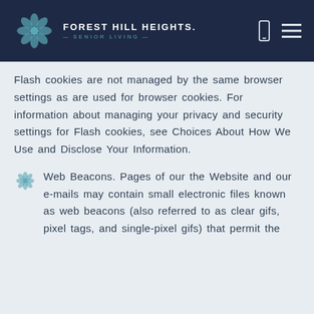FOREST HILL HEIGHTS SENIOR LIVING
Flash cookies are not managed by the same browser settings as are used for browser cookies. For information about managing your privacy and security settings for Flash cookies, see Choices About How We Use and Disclose Your Information.
Web Beacons. Pages of our the Website and our e-mails may contain small electronic files known as web beacons (also referred to as clear gifs, pixel tags, and single-pixel gifs) that permit the